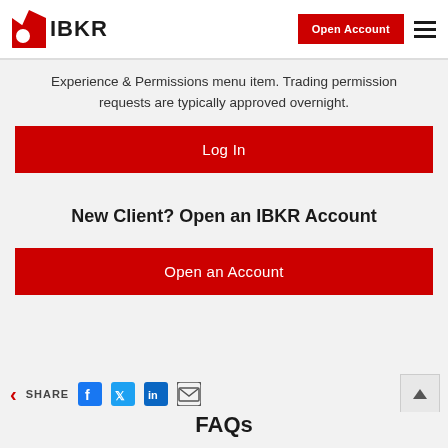[Figure (logo): IBKR logo with red triangular icon and bold IBKR text, plus Open Account red button and hamburger menu]
Experience & Permissions menu item. Trading permission requests are typically approved overnight.
Log In
New Client? Open an IBKR Account
Open an Account
SHARE
FAQs